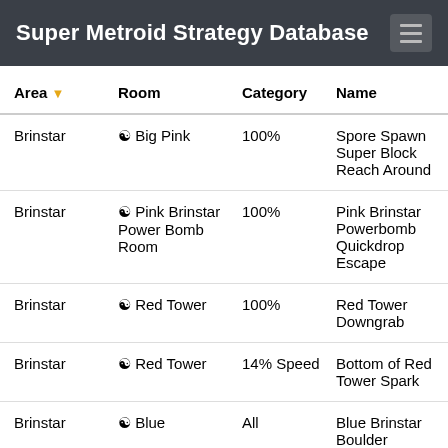Super Metroid Strategy Database
| Area ▼ | Room | Category | Name |
| --- | --- | --- | --- |
| Brinstar | ⊛ Big Pink | 100% | Spore Spawn Super Block Reach Around |
| Brinstar | ⊛ Pink Brinstar Power Bomb Room | 100% | Pink Brinstar Powerbomb Quickdrop Escape |
| Brinstar | ⊛ Red Tower | 100% | Red Tower Downgrab |
| Brinstar | ⊛ Red Tower | 14% Speed | Bottom of Red Tower Spark |
| Brinstar | ⊛ Blue | All | Blue Brinstar Boulder |